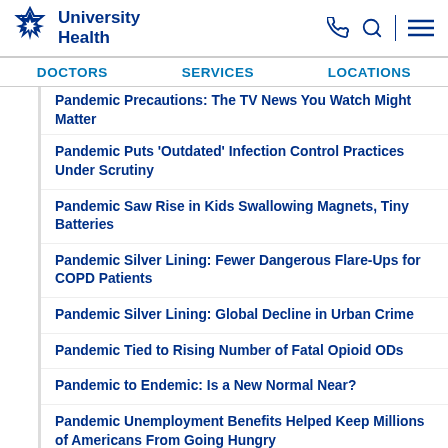University Health
DOCTORS  SERVICES  LOCATIONS
Pandemic Precautions: The TV News You Watch Might Matter
Pandemic Puts 'Outdated' Infection Control Practices Under Scrutiny
Pandemic Saw Rise in Kids Swallowing Magnets, Tiny Batteries
Pandemic Silver Lining: Fewer Dangerous Flare-Ups for COPD Patients
Pandemic Silver Lining: Global Decline in Urban Crime
Pandemic Tied to Rising Number of Fatal Opioid ODs
Pandemic to Endemic: Is a New Normal Near?
Pandemic Unemployment Benefits Helped Keep Millions of Americans From Going Hungry